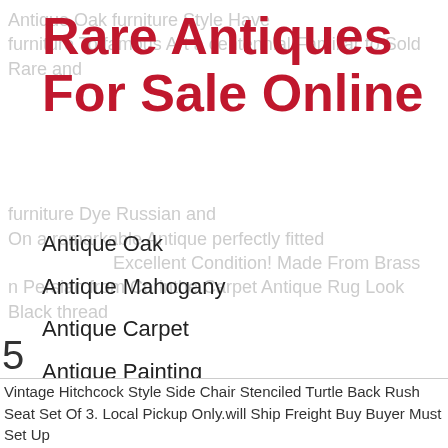Rare Antiques For Sale Online
Antique Oak
Antique Mahogany
Antique Carpet
Antique Painting
Antique Glass
Antique Plate
Vintage Hitchcock Style Side Chair Stenciled Turtle Back Rush Seat Set Of 3. Local Pickup Only.will Ship Freight Buy Buyer Must Set Up